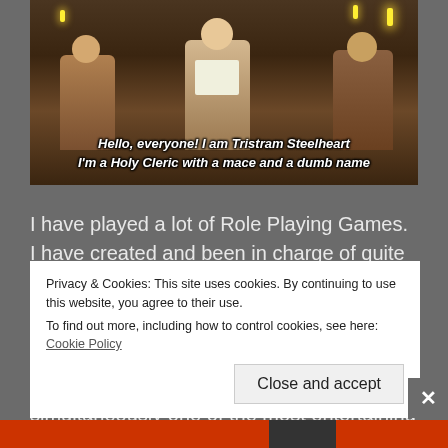[Figure (photo): Screenshot of a TV show with people sitting at a table with candles, subtitled with text about a character named Tristram Steelheart]
Hello, everyone! I am Tristram Steelheart
I'm a Holy Cleric with a mace and a dumb name
I have played a lot of Role Playing Games. I have created and been in charge of quite a few as well. As such, I have noticed trends and common problems. I intend to discuss some of those from time to time.
Let's face it, character creation is simultaneously one of the most entertaining and daunting aspects of picking
Privacy & Cookies: This site uses cookies. By continuing to use this website, you agree to their use.
To find out more, including how to control cookies, see here: Cookie Policy
Close and accept